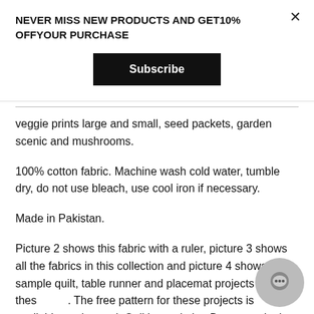NEVER MISS NEW PRODUCTS AND GET10% OFFYOUR PURCHASE
Subscribe
veggie prints large and small, seed packets, garden scenic and mushrooms.
100% cotton fabric. Machine wash cold water, tumble dry, do not use bleach, use cool iron if necessary.
Made in Pakistan.
Picture 2 shows this fabric with a ruler, picture 3 shows all the fabrics in this collection and picture 4 shows a sample quilt, table runner and placemat projects using thes . The free pattern for these projects is available on the k Quilting website. Be sure to look at Picture 5 as it provides